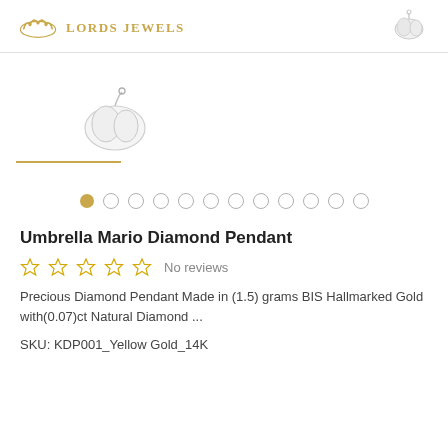Lords Jewels
[Figure (photo): Product image of an Umbrella Mario Diamond Pendant in white gold/silver finish. A small charm pendant with an umbrella-like shape, displayed against white background. A gold horizontal line appears below the image area.]
[Figure (other): Carousel navigation dots: one filled gold dot (active) followed by eleven empty circle dots.]
Umbrella Mario Diamond Pendant
No reviews
Precious Diamond Pendant Made in (1.5) grams BIS Hallmarked Gold with(0.07)ct Natural Diamond ...
SKU: KDP001_Yellow Gold_14K